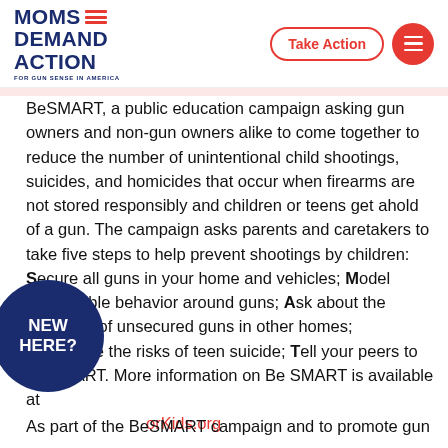MOMS DEMAND ACTION FOR GUN SENSE IN AMERICA | Take Action
BeSMART, a public education campaign asking gun owners and non-gun owners alike to come together to reduce the number of unintentional child shootings, suicides, and homicides that occur when firearms are not stored responsibly and children or teens get ahold of a gun. The campaign asks parents and caretakers to take five steps to help prevent shootings by children: Secure all guns in your home and vehicles; Model responsible behavior around guns; Ask about the presence of unsecured guns in other homes; Recognize the risks of teen suicide; Tell your peers to be SMART. More information on Be SMART is available at [URL]orKids.org
[Figure (logo): NEW HERE? circular badge in navy blue]
As part of the BeSMART campaign and to promote gun